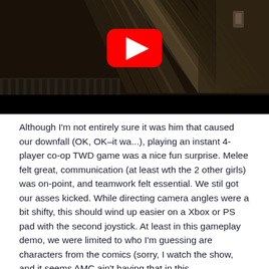[Figure (screenshot): YouTube video thumbnail showing a dark indoor room with light rays streaming through blinds, a radiator visible at the bottom left. A YouTube play button (red rounded rectangle with white triangle) is centered on the image. The bottom portion of the thumbnail is black.]
Although I'm not entirely sure it was him that caused our downfall (OK, OK–it wa...), playing an instant 4-player co-op TWD game was a nice fun surprise. Melee felt great, communication (at least wth the 2 other girls) was on-point, and teamwork felt essential. We stil got our asses kicked. While directing camera angles were a bit shifty, this should wind up easier on a Xbox or PS pad with the second joystick. At least in this gameplay demo, we were limited to who I'm guessing are characters from the comics (sorry, I watch the show, and it seems AMC ain't having that in this